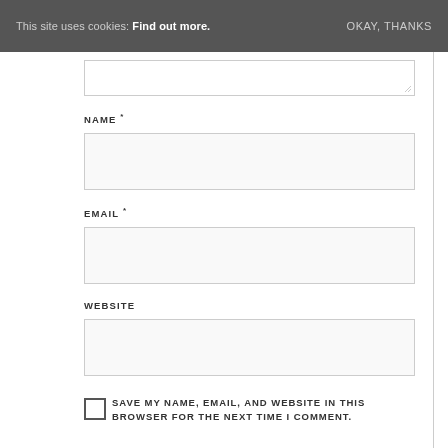This site uses cookies: Find out more. OKAY, THANKS
NAME *
EMAIL *
WEBSITE
SAVE MY NAME, EMAIL, AND WEBSITE IN THIS BROWSER FOR THE NEXT TIME I COMMENT.